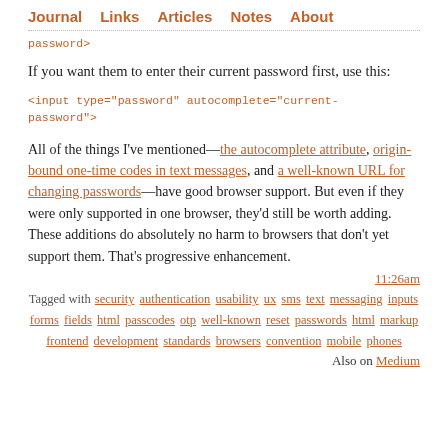Journal   Links   Articles   Notes   About
password">
If you want them to enter their current password first, use this:
<input type="password" autocomplete="current-password">
All of the things I've mentioned—the autocomplete attribute, origin-bound one-time codes in text messages, and a well-known URL for changing passwords—have good browser support. But even if they were only supported in one browser, they'd still be worth adding. These additions do absolutely no harm to browsers that don't yet support them. That's progressive enhancement.
11:26am
Tagged with security authentication usability ux sms text messaging inputs forms fields html passcodes otp well-known reset passwords html markup frontend development standards browsers convention mobile phones
Also on Medium